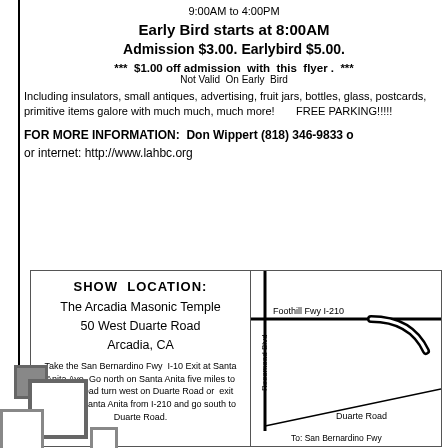9:00AM to 4:00PM
Early Bird starts at 8:00AM
Admission $3.00.  Earlybird $5.00.
***  $1.00 off admission  with  this  flyer .  ***
Not Valid  On Early  Bird
Including insulators, small antiques, advertising, fruit jars, bottles, glass, postcards, primitive items galore with much much, much more!      FREE PARKING!!!!!
FOR MORE INFORMATION:  Don Wippert (818) 346-9833 or internet: http://www.lahbc.org
SHOW  LOCATION:
The Arcadia Masonic Temple
50 West Duarte Road
Arcadia, CA
Take the San Bernardino Fwy  I-10 Exit at Santa Anita Ave  Go north on Santa Anita five miles to Duarte Road turn west on Duarte Road or  exit south on Santa Anita from I-210 and go south to Duarte Road
[Figure (map): Street map showing Foothill Fwy I-210, Rosemead Blvd, Duarte Road, and To: San Bernardino Fwy with a curved road indicator]